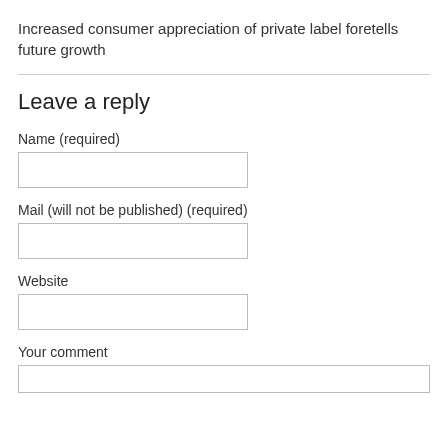Increased consumer appreciation of private label foretells future growth
Leave a reply
Name (required)
Mail (will not be published) (required)
Website
Your comment